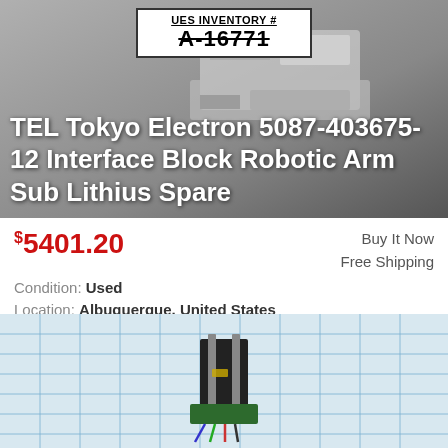[Figure (photo): Product photo of TEL Tokyo Electron Interface Block Robotic Arm with UES Inventory label showing A-16771, gray/silver mechanical component]
TEL Tokyo Electron 5087-403675-12 Interface Block Robotic Arm Sub Lithius Spare
$5401.20
Buy It Now
Free Shipping
Condition: Used
Location: Albuquerque, United States
Model No: IRAS(LITHIUS IPL),XT-AXIS. Assembly Part No: 5087-403675-12, IRAS(LITHIUS IPL),XT-AXIS. Assembly Part No: 5087-403676-11, IRAS(LITHIUS IPL),Z-AXIS. ... more
[Figure (photo): Close-up photo of a small electronic/mechanical component (linear encoder or sensor module) on a grid paper background with blue lines]